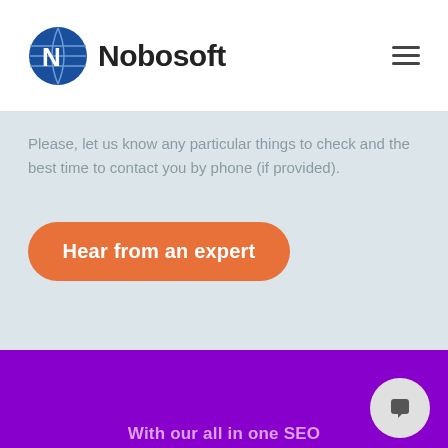Nobosoft
Please, let us know any particular things to check and the best time to contact you by phone (if provided).
[Figure (other): Orange rounded rectangle CTA button with white text 'Hear from an expert']
[Figure (other): Purple footer section with chat bubble icon and partial text 'With our all in one SEO']
With our all in one SEO